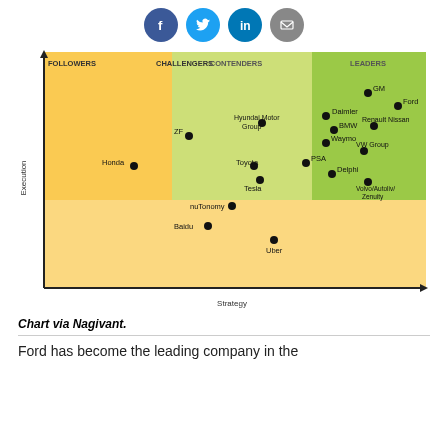[Figure (other): Social media share icons: Facebook (blue circle), Twitter (light blue circle), LinkedIn (blue circle), Email/print (grey circle)]
[Figure (scatter-plot): Quadrant chart with four sections: Followers (top-left), Challengers (lower-left), Contenders (center, light green), Leaders (top-right, green). Companies plotted as dots: GM, Ford, Daimler, Renault Nissan, BMW, Waymo, VW Group, PSA, Delphi, Volvo/Autoliv/Zenuity, Hyundai Motor Group, Toyota, Tesla, ZF, Honda, nuTonomy, Baidu, Uber.]
Chart via Nagivant.
Ford has become the leading company in the